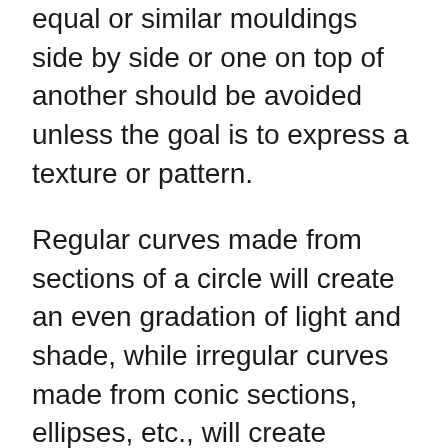equal or similar mouldings side by side or one on top of another should be avoided unless the goal is to express a texture or pattern.
Regular curves made from sections of a circle will create an even gradation of light and shade, while irregular curves made from conic sections, ellipses, etc., will create variation in the intensity of light and shade across their surfaces. The ancient Greek moulding profiles tend to use irregular curves while Roman examples tend to use regular curves. The interest and vitality created by irregular curves is